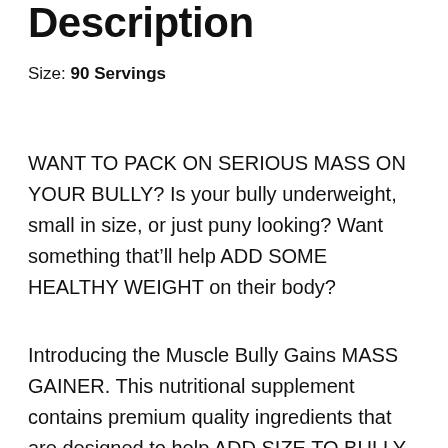Description
Size: 90 Servings
WANT TO PACK ON SERIOUS MASS ON YOUR BULLY? Is your bully underweight, small in size, or just puny looking? Want something that’ll help ADD SOME HEALTHY WEIGHT on their body?
Introducing the Muscle Bully Gains MASS GAINER. This nutritional supplement contains premium quality ingredients that are designed to help ADD SIZE TO BULLY